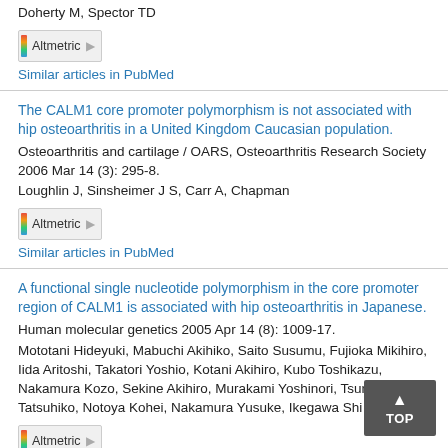Doherty M, Spector TD
[Figure (other): Altmetric badge]
Similar articles in PubMed
The CALM1 core promoter polymorphism is not associated with hip osteoarthritis in a United Kingdom Caucasian population.
Osteoarthritis and cartilage / OARS, Osteoarthritis Research Society 2006 Mar 14 (3): 295-8.
Loughlin J, Sinsheimer J S, Carr A, Chapman
[Figure (other): Altmetric badge]
Similar articles in PubMed
A functional single nucleotide polymorphism in the core promoter region of CALM1 is associated with hip osteoarthritis in Japanese.
Human molecular genetics 2005 Apr 14 (8): 1009-17.
Mototani Hideyuki, Mabuchi Akihiko, Saito Susumu, Fujioka Mikihiro, Iida Aritoshi, Takatori Yoshio, Kotani Akihiro, Kubo Toshikazu, Nakamura Kozo, Sekine Akihiro, Murakami Yoshinori, Tsunoda Tatsuhiko, Notoya Kohei, Nakamura Yusuke, Ikegawa Shi
[Figure (other): Altmetric badge]
Similar articles in PubMed